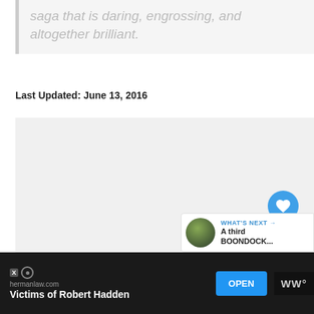saga that is daring, engrossing, and altogether brilliant.
Last Updated: June 13, 2016
[Figure (screenshot): Gray content area placeholder with UI elements: heart/like button (blue circle), count bubble showing '1', pink up-arrow scroll button, and 'WHAT'S NEXT' panel showing a bearded man thumbnail and text 'A third BOONDOCK...']
[Figure (screenshot): Advertisement bar at bottom: dark background, 'hermanlaw.com' site label, 'Victims of Robert Hadden' ad title, blue OPEN button, WW logo icon, with X and target ad icons]